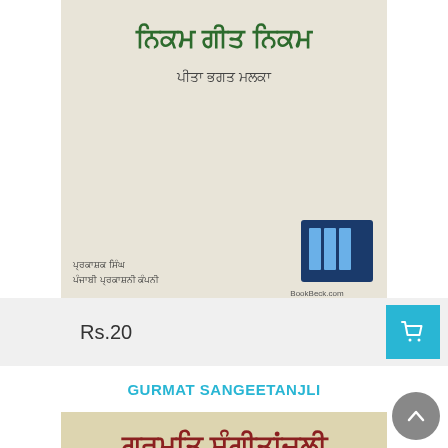[Figure (photo): Book cover for a Punjabi language book with Punjabi script title and publisher logo (BookBeck.com), cream/white background with text.]
Rs.20
[Figure (illustration): Shopping cart icon button on teal/cyan background]
GURMAT SANGEETANJLI
[Figure (photo): Book cover for Gurmat Sangeetanjali featuring Punjabi and English script title, image of a Sikh man in orange and white clothing playing a musical instrument, with a circular text badge on the cover.]